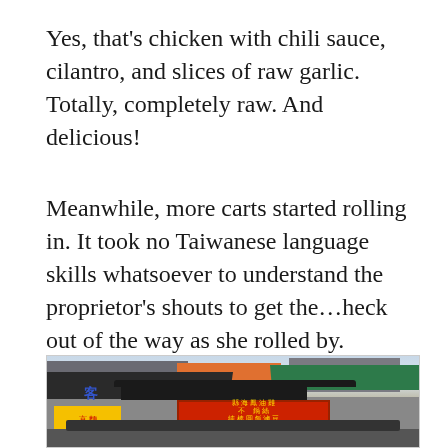Yes, that’s chicken with chili sauce, cilantro, and slices of raw garlic. Totally, completely raw. And delicious!
Meanwhile, more carts started rolling in. It took no Taiwanese language skills whatsoever to understand the proprietor’s shouts to get the…heck out of the way as she rolled by.
[Figure (photo): Street market scene in Taiwan showing market stalls with dark awnings, a green awning on the right, a red sign with Chinese characters and prices (35 35 35 35 40 50), a yellow noodle sign on the left with Chinese characters, and buildings in the background. People visible at the bottom of the frame.]